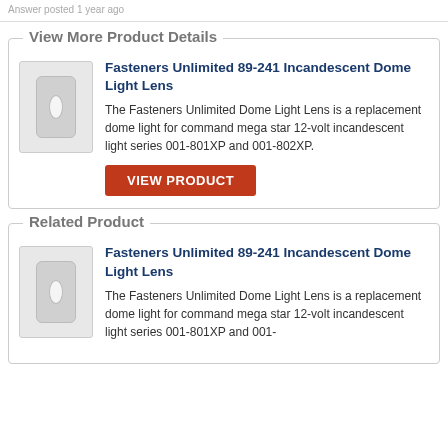Answer posted 1 year ago
View More Product Details
[Figure (photo): Product image of Fasteners Unlimited 89-241 Incandescent Dome Light Lens - a grey/white dome light lens]
Fasteners Unlimited 89-241 Incandescent Dome Light Lens
The Fasteners Unlimited Dome Light Lens is a replacement dome light for command mega star 12-volt incandescent light series 001-801XP and 001-802XP.
VIEW PRODUCT
Related Product
[Figure (photo): Product image of Fasteners Unlimited 89-241 Incandescent Dome Light Lens - a grey/white dome light lens]
Fasteners Unlimited 89-241 Incandescent Dome Light Lens
The Fasteners Unlimited Dome Light Lens is a replacement dome light for command mega star 12-volt incandescent light series 001-801XP and 001-